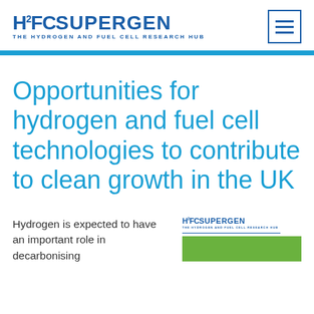[Figure (logo): H2FC SUPERGEN - The Hydrogen and Fuel Cell Research Hub logo]
Opportunities for hydrogen and fuel cell technologies to contribute to clean growth in the UK
Hydrogen is expected to have an important role in decarbonising
[Figure (logo): H2FC SUPERGEN small logo with green bar below]